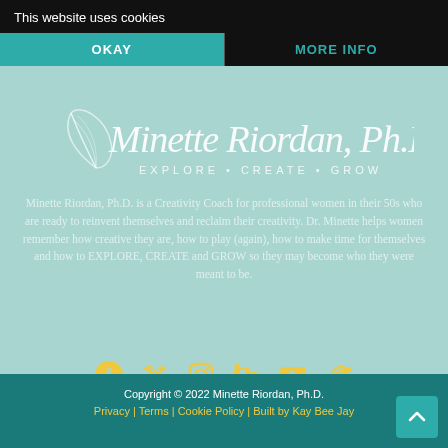This website uses cookies
OKAY
MORE INFO
[Figure (logo): Minette Riordan, Ph.D. logo with cursive script and tagline EXPLORE • CREATE • GROW]
Minette Riordan, Ph.D. is a Creativity Coach for professional women in their 50s who are ready to reinvent themselves and reclaim their creativity. Dr. Minette helps women remember how creative they are, how to play (again), how to make time for themselves and how to EXPLORE, CREATE and GROW so they may become who they were meant to be.
[Figure (infographic): Social media icons: Facebook, Twitter, Instagram, LinkedIn, YouTube, RSS — all in golden/yellow color]
Copyright © 2022 Minette Riordan, Ph.D. Privacy | Terms | Cookie Policy | Built by Kay Bee Jay